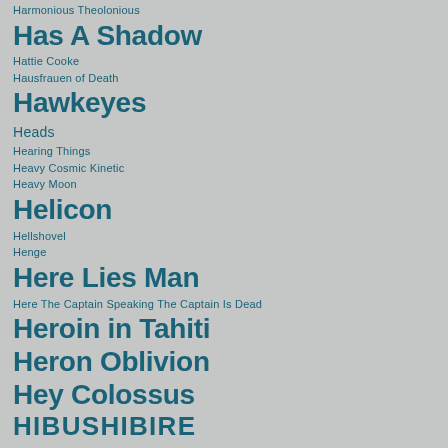Harmonious Theolonious
Has A Shadow
Hattie Cooke
Hausfrauen of Death
Hawkeyes
Heads
Hearing Things
Heavy Cosmic Kinetic
Heavy Moon
Helicon
Hellshovel
Henge
Here Lies Man
Here The Captain Speaking The Captain Is Dead
Heroin in Tahiti
Heron Oblivion
Hey Colossus
HIBUSHIBIRE